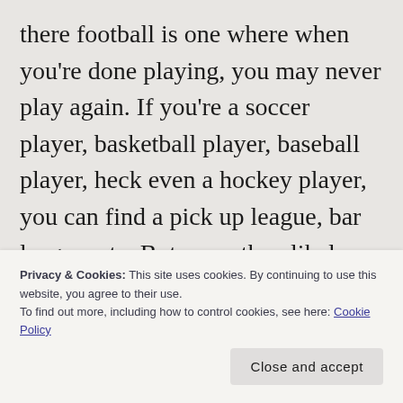there football is one where when you're done playing, you may never play again. If you're a soccer player, basketball player, baseball player, heck even a hockey player, you can find a pick up league, bar league, etc. But more than likely, a football player will never, ever put on the helmet and pads again. Never run out into a field in front screaming fans. And never line up against another player, drive off the ball and collide with another
Privacy & Cookies: This site uses cookies. By continuing to use this website, you agree to their use.
To find out more, including how to control cookies, see here: Cookie Policy